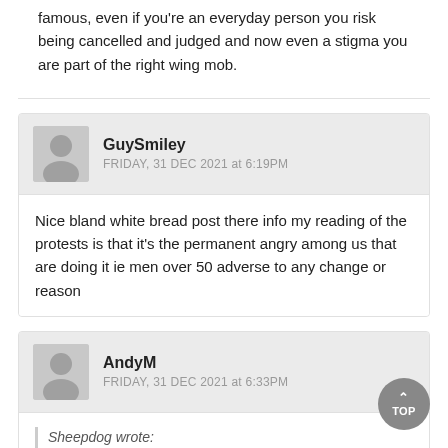famous, even if you're an everyday person you risk being cancelled and judged and now even a stigma you are part of the right wing mob.
GuySmiley
FRIDAY, 31 DEC 2021 at 6:19PM
Nice bland white bread post there info my reading of the protests is that it's the permanent angry among us that are doing it ie men over 50 adverse to any change or reason
AndyM
FRIDAY, 31 DEC 2021 at 6:33PM
Sheepdog wrote: